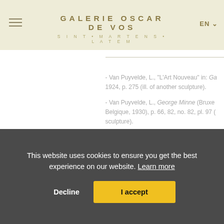GALERIE OSCAR DE VOS | SINT•MARTENS•LATEM | EN
- Van Puyvelde, L., "L'Art Nouveau" in: Ga... 1924, p. 275 (ill. of another sculpture).
- Van Puyvelde, L., George Minne (Bruxe... Belgique, 1930), p. 66, 82, no. 82, pl. 97 ... sculpture).
- Van den Abeele, R. & G. Chabot, Baron... 1966, exh. cat. (Sint-Martens-Latem. Late... 1966), pp. 20-21, ill. 7 (ill. of another scu...
This website uses cookies to ensure you get the best experience on our website. Learn more